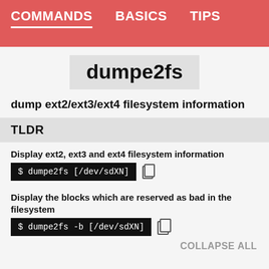COMMANDS   BASICS   TIPS
dumpe2fs
dump ext2/ext3/ext4 filesystem information
TLDR
Display ext2, ext3 and ext4 filesystem information
$ dumpe2fs [/dev/sdXN]
Display the blocks which are reserved as bad in the filesystem
$ dumpe2fs -b [/dev/sdXN]
COLLAPSE ALL